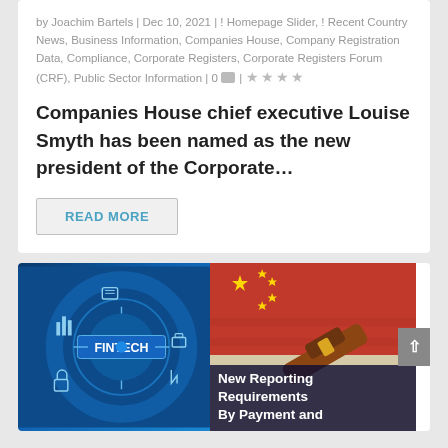by Joachim Bartels | Dec 10, 2021 | ! Homepage Slider, ! Recent Country News, Business Information, Companies House, Company Registration Data, Compliance, Corporate Registers, Corporate Registers Forum (CRF), Public Sector Information | 0
Companies House chief executive Louise Smyth has been named as the new president of the Corporate…
READ MORE
[Figure (photo): Split image: left side shows a blue digital fintech graphic with circular icons and 'FINTECH' text; right side shows a red Chinese flag with a gavel (court/legal), with overlay text 'New Reporting Requirements By...']